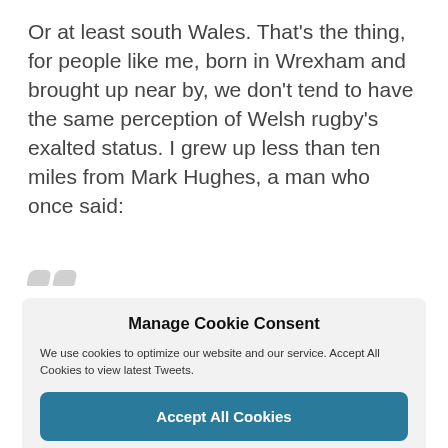Or at least south Wales.  That's the thing, for people like me, born in Wrexham and brought up near by, we don't tend to have the same perception of Welsh rugby's exalted status.  I grew up less than ten miles from Mark Hughes, a man who once said:
[Figure (other): Two small grey quotation mark shapes]
Manage Cookie Consent
We use cookies to optimize our website and our service. Accept All Cookies to view latest Tweets.
Accept All Cookies
Deny
View preferences